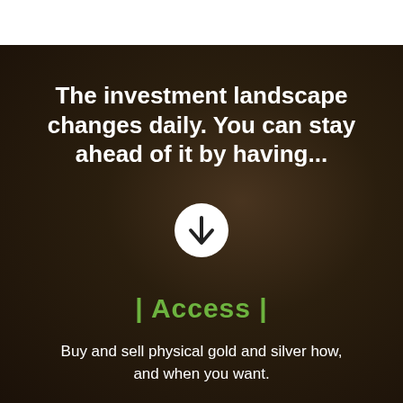[Figure (photo): Dark brown embossed coin background image with decorative engravings, partially overlaid with white bar at top]
The investment landscape changes daily. You can stay ahead of it by having...
| Access |
Buy and sell physical gold and silver how, and when you want.